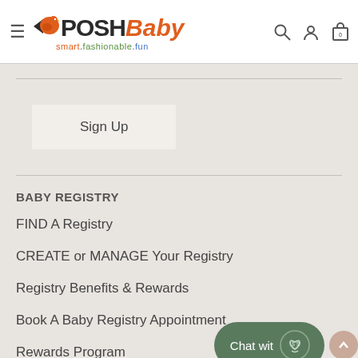[Figure (logo): PoshBaby logo with orange bird icon, POSH in dark text, Baby in orange italic text, tagline 'smart.fashionable.fun' with search, user, and bag icons]
Sign Up
BABY REGISTRY
FIND A Registry
CREATE or MANAGE Your Registry
Registry Benefits & Rewards
Book A Baby Registry Appointment
Rewards Program